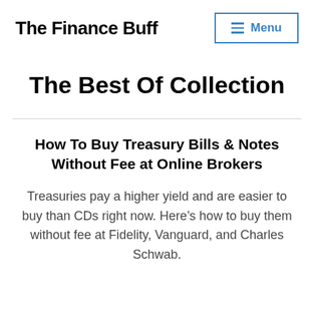The Finance Buff
The Best Of Collection
How To Buy Treasury Bills & Notes Without Fee at Online Brokers
Treasuries pay a higher yield and are easier to buy than CDs right now. Here’s how to buy them without fee at Fidelity, Vanguard, and Charles Schwab.